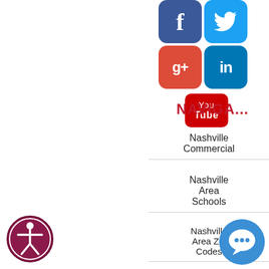[Figure (illustration): Social media icons: Facebook (blue), Twitter (light blue), Google+ (red), LinkedIn (blue), YouTube (red) arranged in a 2x2 grid plus YouTube below]
NAVIGA...
Nashville Commercial
Nashville Area Schools
Nashville Area Zip Codes
About
Selling
[Figure (illustration): Accessibility icon (wheelchair person in circle) in dark red/maroon colors, bottom left]
[Figure (illustration): Chat bubble icon in blue, bottom right]